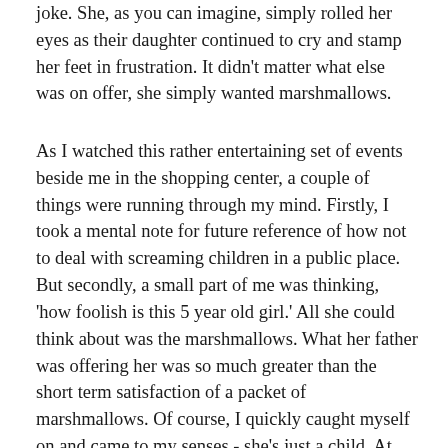joke. She, as you can imagine, simply rolled her eyes as their daughter continued to cry and stamp her feet in frustration. It didn't matter what else was on offer, she simply wanted marshmallows.
As I watched this rather entertaining set of events beside me in the shopping center, a couple of things were running through my mind. Firstly, I took a mental note for future reference of how not to deal with screaming children in a public place. But secondly, a small part of me was thinking, 'how foolish is this 5 year old girl.' All she could think about was the marshmallows. What her father was offering her was so much greater than the short term satisfaction of a packet of marshmallows. Of course, I quickly caught myself on and came to my senses - she's just a child. At her young age she wasn't making totally rational decisions. She doesn't have the mental capacity to understand what's at stake. She doesn't yet fully see the value of the things that were actually on offer to